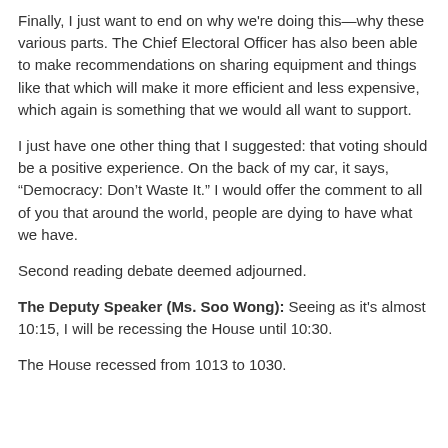Finally, I just want to end on why we're doing this—why these various parts. The Chief Electoral Officer has also been able to make recommendations on sharing equipment and things like that which will make it more efficient and less expensive, which again is something that we would all want to support.
I just have one other thing that I suggested: that voting should be a positive experience. On the back of my car, it says, “Democracy: Don't Waste It.” I would offer the comment to all of you that around the world, people are dying to have what we have.
Second reading debate deemed adjourned.
The Deputy Speaker (Ms. Soo Wong): Seeing as it's almost 10:15, I will be recessing the House until 10:30.
The House recessed from 1013 to 1030.